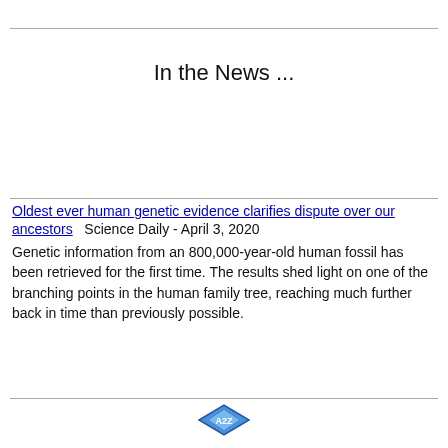In the News ...
Oldest ever human genetic evidence clarifies dispute over our ancestors   Science Daily - April 3, 2020
Genetic information from an 800,000-year-old human fossil has been retrieved for the first time. The results shed light on one of the branching points in the human family tree, reaching much further back in time than previously possible.
[Figure (logo): A2Z logo icon at the bottom of the page]